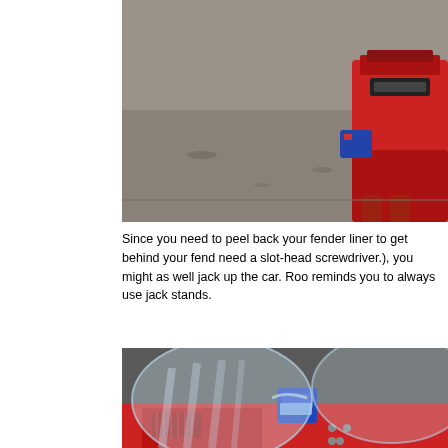[Figure (photo): Close-up photo of a car jack tool with red and blue parts positioned on a concrete floor near a vehicle]
Since you need to peel back your fender liner to get behind your fender (you'll need a slot-head screwdriver.), you might as well jack up the car. Rod reminds you to always use jack stands.
[Figure (photo): Close-up photo of clear safety goggles resting on top of red equipment with blue components visible, likely a pressure washer or similar tool]